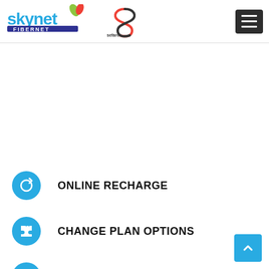[Figure (logo): Skynet Fibernet and Sefaro Networks logos in the page header]
ONLINE RECHARGE
CHANGE PLAN OPTIONS
DOWNLOAD INVOICE ONLINE